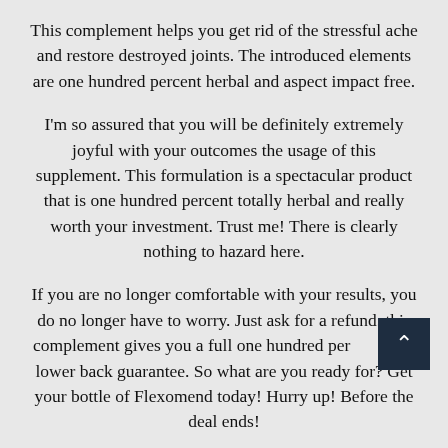This complement helps you get rid of the stressful ache and restore destroyed joints. The introduced elements are one hundred percent herbal and aspect impact free.
I'm so assured that you will be definitely extremely joyful with your outcomes the usage of this supplement. This formulation is a spectacular product that is one hundred percent totally herbal and really worth your investment. Trust me! There is clearly nothing to hazard here.
If you are no longer comfortable with your results, you do no longer have to worry. Just ask for a refund. this complement gives you a full one hundred percent cash lower back guarantee. So what are you ready for? Get your bottle of Flexomend today! Hurry up! Before the deal ends!